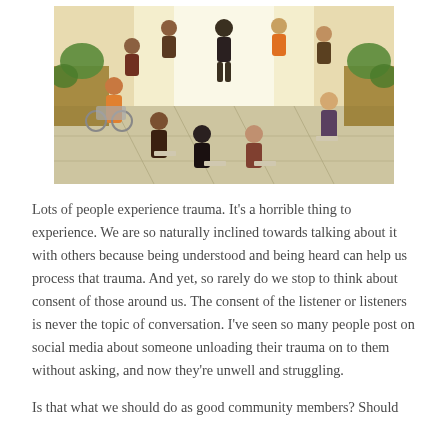[Figure (photo): A diverse group of people sitting in a circle in a bright room with plants, appearing to be in a support group or community meeting. One person appears to be in a wheelchair.]
Lots of people experience trauma. It's a horrible thing to experience. We are so naturally inclined towards talking about it with others because being understood and being heard can help us process that trauma. And yet, so rarely do we stop to think about consent of those around us. The consent of the listener or listeners is never the topic of conversation. I've seen so many people post on social media about someone unloading their trauma on to them without asking, and now they're unwell and struggling.
Is that what we should do as good community members? Should